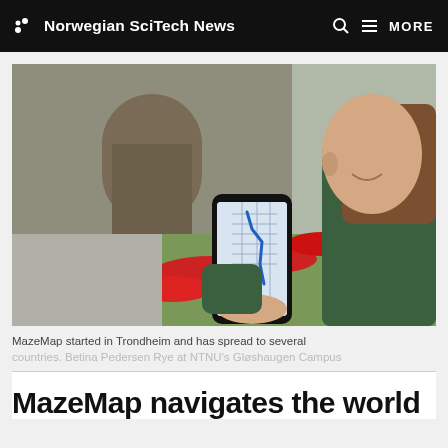Norwegian SciTech News  MORE
[Figure (photo): Woman holding a smartphone displaying a map app (MazeMap), standing outdoors in front of a stone building with a red flower bed in the background. Betina Pedersen Rye at NTNU's Gløshaugen Campus.]
MazeMap started in Trondheim and has spread to several countries. Betina Pedersen Rye at NTNU's Gløshaugen Campus
MazeMap navigates the world